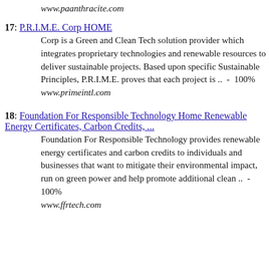www.paanthracite.com
17: P.R.I.M.E. Corp HOME
Corp is a Green and Clean Tech solution provider which integrates proprietary technologies and renewable resources to deliver sustainable projects. Based upon specific Sustainable Principles, P.R.I.M.E. proves that each project is ..  -  100%
www.primeintl.com
18: Foundation For Responsible Technology Home Renewable Energy Certificates, Carbon Credits, ...
Foundation For Responsible Technology provides renewable energy certificates and carbon credits to individuals and businesses that want to mitigate their environmental impact, run on green power and help promote additional clean ..  -  100%
www.ffrtech.com